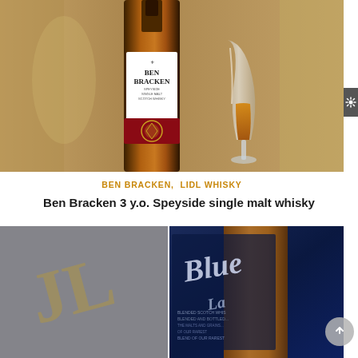[Figure (photo): Ben Bracken Speyside Single Malt Scotch Whisky bottle next to a Glencairn whisky glass with amber whisky, blurred background]
BEN BRACKEN,  LIDL WHISKY
Ben Bracken 3 y.o. Speyside single malt whisky
[Figure (photo): Two-panel image: left panel shows a grey textured background with faint golden letter design; right panel shows a close-up of Johnnie Walker Blue Label bottle with text 'Blended Scotch Whisky, Blended and Bottled...Blend of Our Rarest Whiskies']